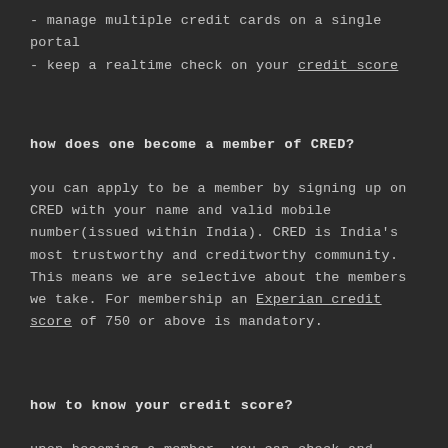- manage multiple credit cards on a single portal
- keep a realtime check on your credit score
how does one become a member of CRED?
you can apply to be a member by signing up on CRED with your name and valid mobile number(issued within India). CRED is India's most trustworthy and creditworthy community. This means we are selective about the members we take. For membership an Experian credit score of 750 or above is mandatory.
how to know your credit score?
upon becoming a member, you can check and refresh your credit score with a single click. CRED then proceeds to acquire your updated credit score through a CIBIL score soft inquiry. on